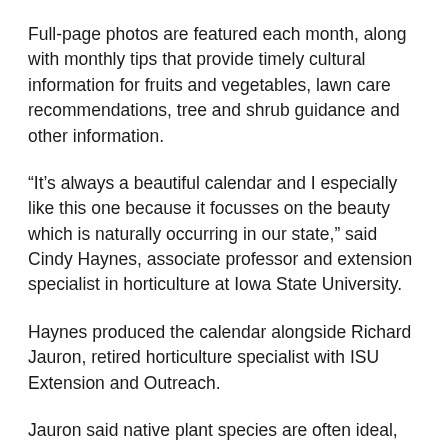Full-page photos are featured each month, along with monthly tips that provide timely cultural information for fruits and vegetables, lawn care recommendations, tree and shrub guidance and other information.
“It’s always a beautiful calendar and I especially like this one because it focusses on the beauty which is naturally occurring in our state,” said Cindy Haynes, associate professor and extension specialist in horticulture at Iowa State University.
Haynes produced the calendar alongside Richard Jauron, retired horticulture specialist with ISU Extension and Outreach.
Jauron said native plant species are often ideal, because they’re adapted to the climate and generally do well.